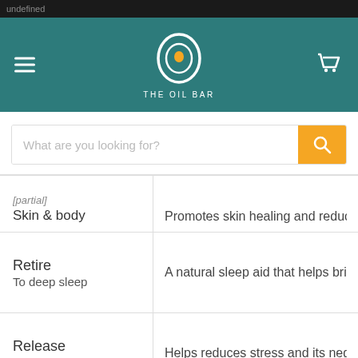undefined
[Figure (logo): The Oil Bar logo with teal navigation bar, hamburger menu on left, shopping cart on right, and circular drop logo with THE OIL BAR text]
[Figure (screenshot): Search bar with placeholder text 'What are you looking for?' and orange search button]
| Category | Description |
| --- | --- |
| [partial] Skin & body | Promotes skin healing and reduces s[truncated] |
| Retire
To deep sleep | A natural sleep aid that helps bring o[truncated] |
| Release
Stress & strain | Helps reduces stress and its negative[truncated] |
| Reduce
Cravings & appetite | A natural aid to help su[truncated]peti[truncated] |